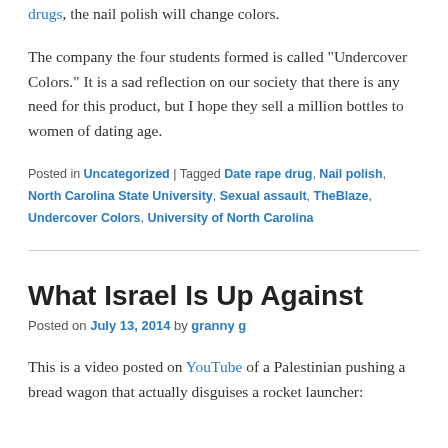drugs, the nail polish will change colors.
The company the four students formed is called "Undercover Colors." It is a sad reflection on our society that there is any need for this product, but I hope they sell a million bottles to women of dating age.
Posted in Uncategorized | Tagged Date rape drug, Nail polish, North Carolina State University, Sexual assault, TheBlaze, Undercover Colors, University of North Carolina
What Israel Is Up Against
Posted on July 13, 2014 by granny g
This is a video posted on YouTube of a Palestinian pushing a bread wagon that actually disguises a rocket launcher: